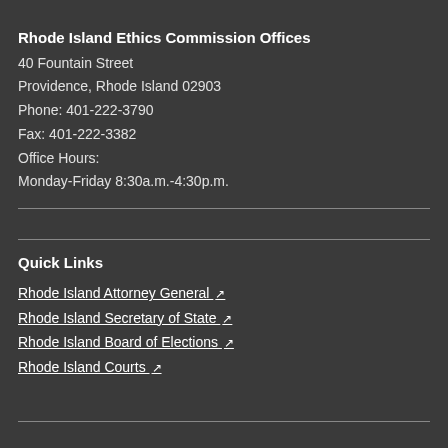Rhode Island Ethics Commission Offices
40 Fountain Street
Providence, Rhode Island 02903
Phone: 401-222-3790
Fax: 401-222-3382
Office Hours:
Monday-Friday 8:30a.m.-4:30p.m.
Quick Links
Rhode Island Attorney General
Rhode Island Secretary of State
Rhode Island Board of Elections
Rhode Island Courts